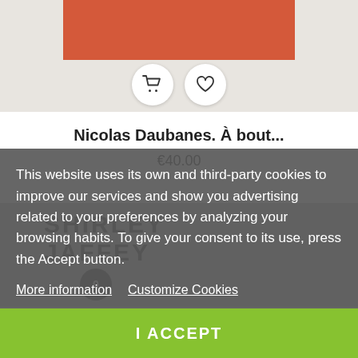[Figure (photo): Book product image area showing a reddish-orange book cover at the top, with a shopping cart icon button and a heart/wishlist icon button below]
Nicolas Daubanes. À bout...
€40.00
[Figure (photo): Second product image partially visible showing text SHIRLEY JAFFEY on a book cover, partially obscured by cookie consent overlay]
This website uses its own and third-party cookies to improve our services and show you advertising related to your preferences by analyzing your browsing habits. To give your consent to its use, press the Accept button.
More information   Customize Cookies
I ACCEPT